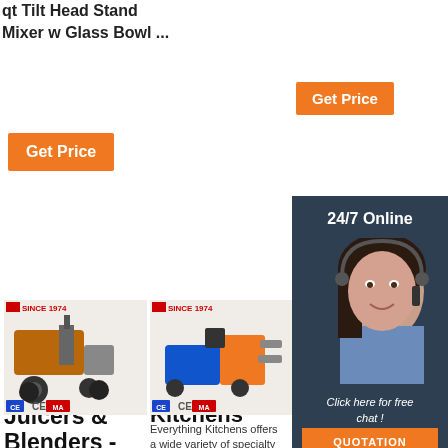qt Tilt Head Stand Mixer w Glass Bowl ...
Get Price
Get Price
24/7 Online
Click here for free chat !
QUOTATION
[Figure (photo): Industrial pump machine - product 1 with certification logos]
[Figure (photo): Industrial pump machine - product 2 with certification logos]
[Figure (photo): Customer service woman with headset - 24/7 online chat widget]
Omega Juicers & Blenders - Healthy
Everything Kitchens
Art Supplies
Everything Kitchens offers a wide variety of specialty gourmet
Blick Art Materials offers great discounts on art supplies online